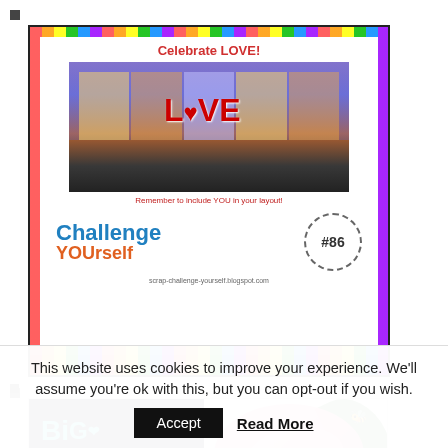■
[Figure (illustration): Challenge YOUrself #86 scrapbooking challenge card. Says 'Celebrate LOVE!' with a city photo showing a red LOVE sculpture, text 'Remember to include YOU in your layout!', and 'Challenge YOUrself #86', URL: scrap-challenge-yourself.blogspot.com]
■
[Figure (photo): Scrapbook layout showing 'Big YAY!' text on dark background on left side, and on right side pink flowers, a black and white photo of a woman with glasses, small decorative elements, name 'Kim Skuges', and 'Stamping Imperfectly']
■
This website uses cookies to improve your experience. We'll assume you're ok with this, but you can opt-out if you wish.
Accept
Read More